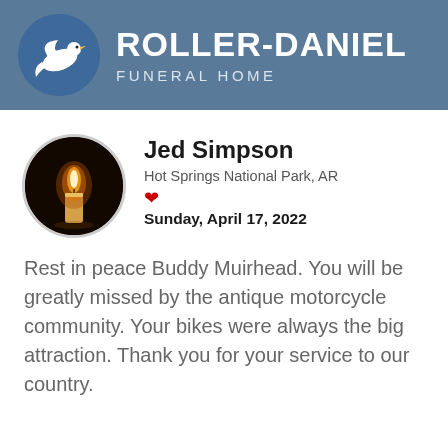Roller-Daniel Funeral Home
[Figure (logo): Roller-Daniel Funeral Home logo with white dove on blue circle and text on steel blue background]
[Figure (photo): Circular photo of a lit candle flame against dark background]
Jed Simpson
Hot Springs National Park, AR
Sunday, April 17, 2022
Rest in peace Buddy Muirhead. You will be greatly missed by the antique motorcycle community. Your bikes were always the big attraction. Thank you for your service to our country.